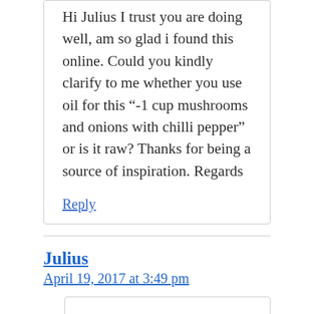Hi Julius I trust you are doing well, am so glad i found this online. Could you kindly clarify to me whether you use oil for this "-1 cup mushrooms and onions with chilli pepper" or is it raw? Thanks for being a source of inspiration. Regards
Reply
Julius
April 19, 2017 at 3:49 pm
The only thing you have to be concerned about is the onions...